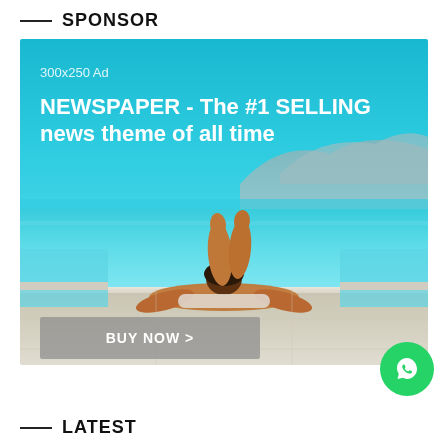SPONSOR
[Figure (photo): Advertisement banner (300x250 Ad) showing a person relaxing at a luxury infinity pool with turquoise water and scenic mountain background. Text overlay: '300x250 Ad', 'NEWSPAPER - The #1 SELLING news theme of all time', and a 'BUY NOW >' button.]
LATEST